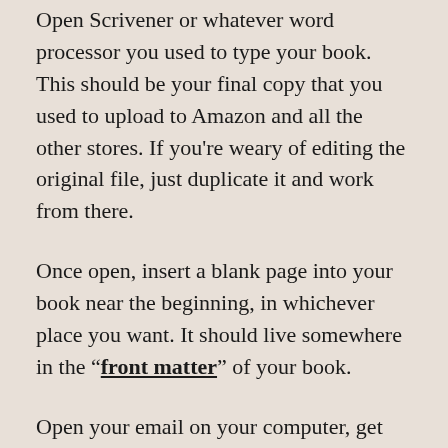Open Scrivener or whatever word processor you used to type your book. This should be your final copy that you used to upload to Amazon and all the other stores. If you're weary of editing the original file, just duplicate it and work from there.
Once open, insert a blank page into your book near the beginning, in whichever place you want. It should live somewhere in the “front matter” of your book.
Open your email on your computer, get the attached image and drag it into the blank page you just created in your book. The page should